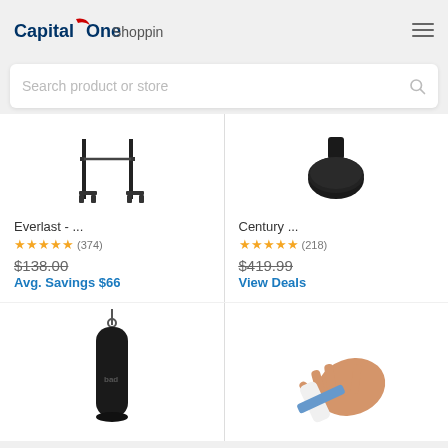Capital One Shopping
Search product or store
[Figure (screenshot): Everlast product - exercise equipment stand]
Everlast - ...
★★★★★ (374)
$138.00
Avg. Savings $66
[Figure (screenshot): Century product - black round base/weight]
Century ...
★★★★★ (218)
$419.99
View Deals
[Figure (screenshot): Bad Boy black punching bag hanging]
[Figure (screenshot): Hand/wrist brace support product]